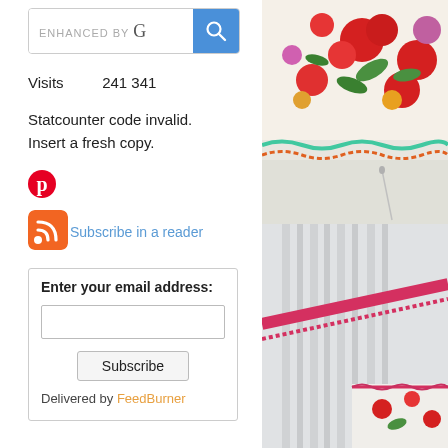[Figure (screenshot): Google-enhanced search bar with magnifying glass icon on blue background]
Visits   241 341
Statcounter code invalid. Insert a fresh copy.
[Figure (logo): Pinterest red circular P logo icon]
[Figure (logo): RSS orange feed icon]
Subscribe in a reader
[Figure (other): Email subscription box with Enter your email address label, input field, Subscribe button, and Delivered by FeedBurner text]
[Figure (photo): Close-up photo of colorful floral fabric with red flowers, green leaves, and embroidered trim with needle]
[Figure (photo): Close-up photo of white fabric with pink embroidered trim showing pintucks or pleats]